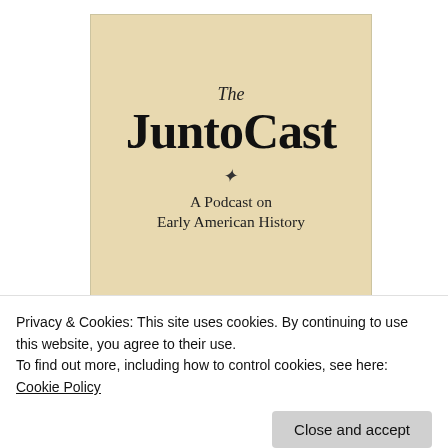[Figure (logo): The JuntoCast podcast logo on a tan/beige background. Shows 'The' in italic serif at top, then large bold 'JuntoCast', a decorative divider, then 'A Podcast on' and 'Early American History'.]
Tweets from @thejuntoblog
The Junto Retweeted
Privacy & Cookies: This site uses cookies. By continuing to use this website, you agree to their use.
To find out more, including how to control cookies, see here: Cookie Policy
Close and accept
@Ideas_History conference